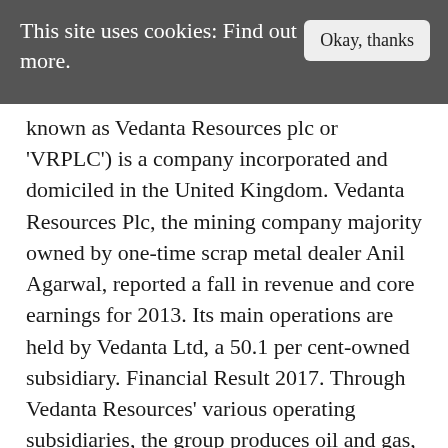This site uses cookies: Find out more.
Okay, thanks
known as Vedanta Resources plc or 'VRPLC') is a company incorporated and domiciled in the United Kingdom. Vedanta Resources Plc, the mining company majority owned by one-time scrap metal dealer Anil Agarwal, reported a fall in revenue and core earnings for 2013. Its main operations are held by Vedanta Ltd, a 50.1 per cent-owned subsidiary. Financial Result 2017. Through Vedanta Resources' various operating subsidiaries, the group produces oil and gas, zinc, lead, silver, aluminium, iron ore and power. VEDANTA LTD 2018-19 Annual Report Analysis (Annual Result Update) Jan 31, 2019 |